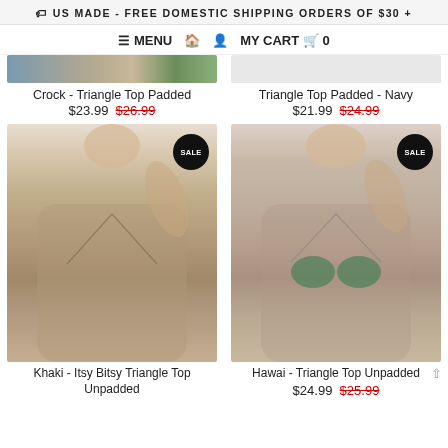🏷 US MADE - FREE DOMESTIC SHIPPING ORDERS OF $30 +
≡ MENU  🏠  👤  MY CART 🛒 0
Crock - Triangle Top Padded
$23.99  $26.99
Triangle Top Padded - Navy
$21.99  $24.99
[Figure (photo): Model wearing khaki itsy bitsy triangle top unpadded bikini, with SALE badge]
[Figure (photo): Model wearing tropical print Hawai triangle top unpadded bikini, with SALE badge]
Khaki - Itsy Bitsy Triangle Top Unpadded
Hawai - Triangle Top Unpadded
$24.99  $25.99